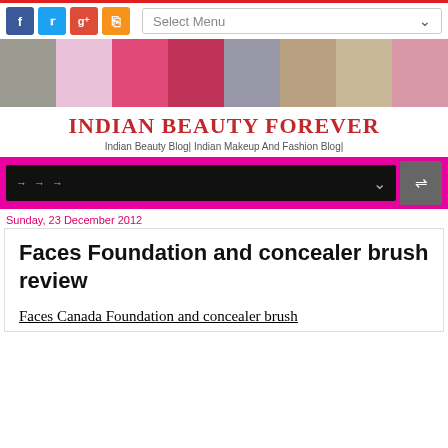Social media links and Select Menu navigation bar
[Figure (photo): Banner strip with makeup product photos]
INDIAN BEAUTY FOREVER
Indian Beauty Blog| Indian Makeup And Fashion Blog|
[Figure (screenshot): Navigation bar with black dropdown and shuffle button on magenta background]
Sunday, 23 December 2012
Faces Foundation and concealer brush review
Faces Canada Foundation and concealer brush